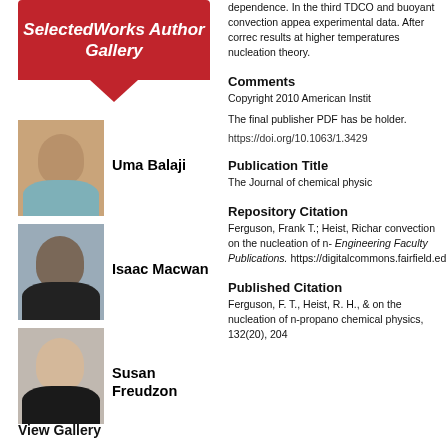SelectedWorks Author Gallery
Uma Balaji
[Figure (photo): Headshot photo of Uma Balaji]
Isaac Macwan
[Figure (photo): Headshot photo of Isaac Macwan]
Susan Freudzon
[Figure (photo): Headshot photo of Susan Freudzon]
View Gallery
dependence. In the third TDCO and buoyant convection appea experimental data. After correc results at higher temperatures nucleation theory.
Comments
Copyright 2010 American Instit
The final publisher PDF has be holder.
https://doi.org/10.1063/1.3429
Publication Title
The Journal of chemical physic
Repository Citation
Ferguson, Frank T.; Heist, Richar convection on the nucleation of n- Engineering Faculty Publications. https://digitalcommons.fairfield.ed
Published Citation
Ferguson, F. T., Heist, R. H., & on the nucleation of n-propano chemical physics, 132(20), 204